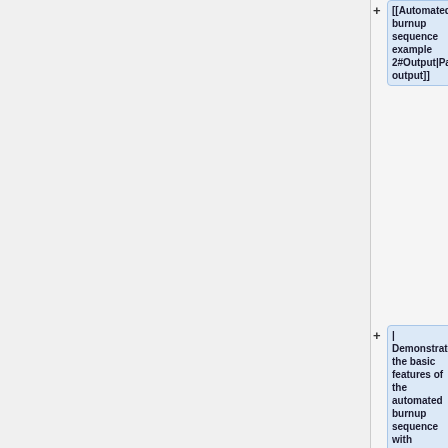+ [[Automated burnup sequence example 2#Output|Partial output]]
+ | Demonstrates the basic features of the automated burnup sequence with casematrix
+ | ARi / VTT
+ | 22/05/13
+ |}
+
== Simple